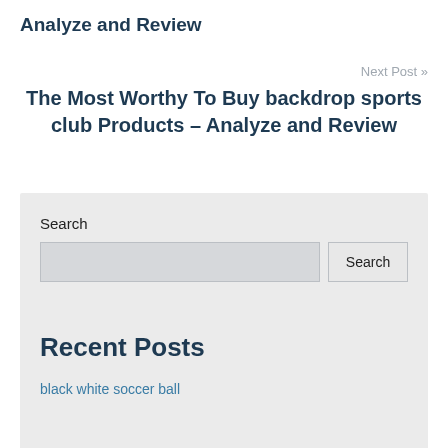Analyze and Review
Next Post »
The Most Worthy To Buy backdrop sports club Products – Analyze and Review
Search
Recent Posts
black white soccer ball